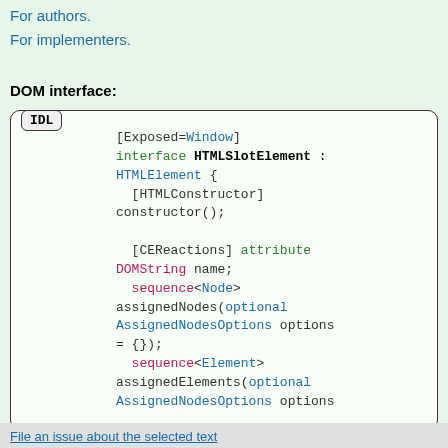For authors.
For implementers.
DOM interface:
[Figure (other): IDL code block showing HTMLSlotElement interface definition with [Exposed=Window], interface HTMLSlotElement : HTMLElement, [HTMLConstructor] constructor(), [CEReactions] attribute DOMString name, sequence<Node> assignedNodes(optional AssignedNodesOptions options = {}), sequence<Element> assignedElements(optional AssignedNodesOptions options]
File an issue about the selected text